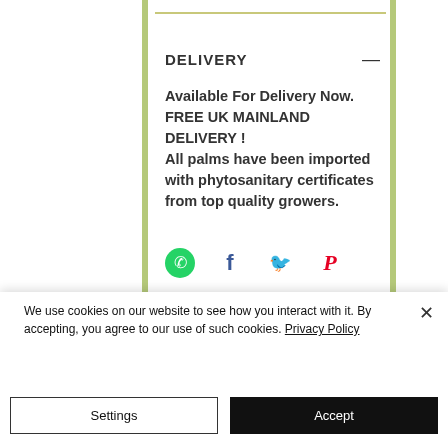DELIVERY
Available For Delivery Now. FREE UK MAINLAND DELIVERY ! All palms have been imported with phytosanitary certificates from top quality growers.
[Figure (infographic): Social sharing icons: WhatsApp (green circle), Facebook (f), Twitter (bird), Pinterest (P)]
We use cookies on our website to see how you interact with it. By accepting, you agree to our use of such cookies. Privacy Policy
Settings
Accept